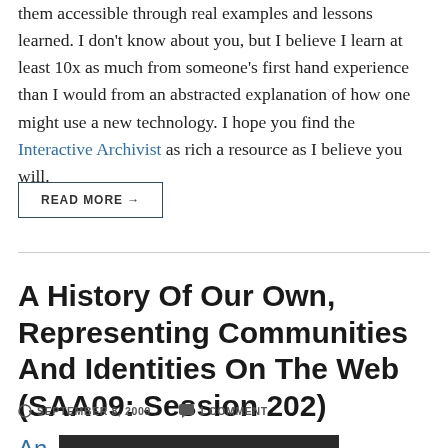them accessible through real examples and lessons learned. I don't know about you, but I believe I learn at least 10x as much from someone's first hand experience than I would from an abstracted explanation of how one might use a new technology. I hope you find the Interactive Archivist as rich a resource as I believe you will.
READ MORE →
A History Of Our Own, Representing Communities And Identities On The Web (SAA09: Session 202)
SEPTEMBER 8, 2009    1 COMMENT
An
[Figure (photo): Dark photograph partially visible at the bottom of the page]